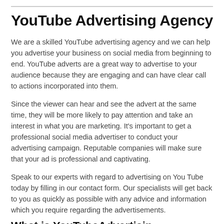YouTube Advertising Agency
We are a skilled YouTube advertising agency and we can help you advertise your business on social media from beginning to end. YouTube adverts are a great way to advertise to your audience because they are engaging and can have clear call to actions incorporated into them.
Since the viewer can hear and see the advert at the same time, they will be more likely to pay attention and take an interest in what you are marketing. It’s important to get a professional social media advertiser to conduct your advertising campaign. Reputable companies will make sure that your ad is professional and captivating.
Speak to our experts with regard to advertising on You Tube today by filling in our contact form. Our specialists will get back to you as quickly as possible with any advice and information which you require regarding the advertisements.
What is YouTubeAdvertisin...